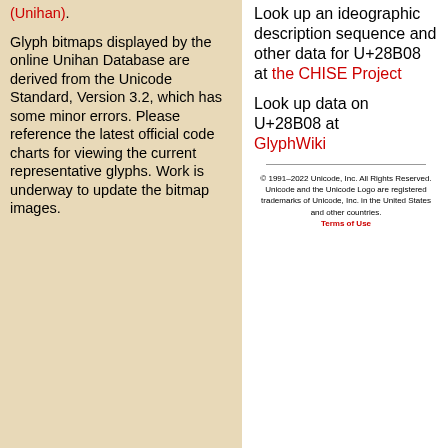(Unihan).
Glyph bitmaps displayed by the online Unihan Database are derived from the Unicode Standard, Version 3.2, which has some minor errors. Please reference the latest official code charts for viewing the current representative glyphs. Work is underway to update the bitmap images.
Look up an ideographic description sequence and other data for U+28B08 at the CHISE Project
Look up data on U+28B08 at GlyphWiki
© 1991-2022 Unicode, Inc. All Rights Reserved. Unicode and the Unicode Logo are registered trademarks of Unicode, Inc. in the United States and other countries. Terms of Use